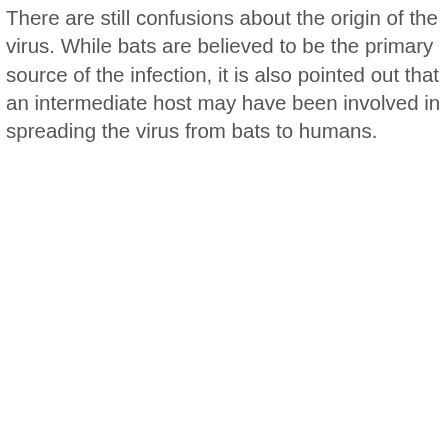There are still confusions about the origin of the virus. While bats are believed to be the primary source of the infection, it is also pointed out that an intermediate host may have been involved in spreading the virus from bats to humans.